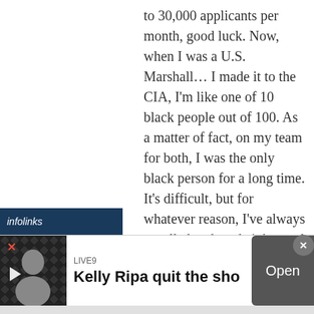to 30,000 applicants per month, good luck. Now, when I was a U.S. Marshall… I made it to the CIA, I'm like one of 10 black people out of 100. As a matter of fact, on my team for both, I was the only black person for a long time. It's difficult, but for whatever reason, I've always excelled and made it beyond that. I did a plethora of things for the CIA as a computer engineer.

In the intelligence community, everything is very low-key and confidential. When I go to work, I don't have access to my phone. I can't talk to
[Figure (screenshot): infolinks advertisement bar at bottom of article, with Kelly Ripa ad overlay showing 'LIVE9 Kelly Ripa quit the sho' with Open button]